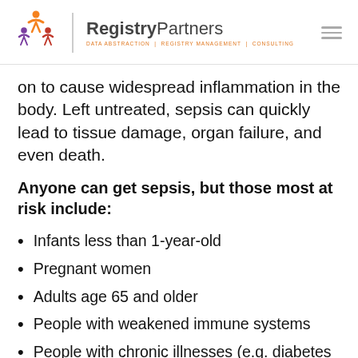RegistryPartners – DATA ABSTRACTION | REGISTRY MANAGEMENT | CONSULTING
on to cause widespread inflammation in the body. Left untreated, sepsis can quickly lead to tissue damage, organ failure, and even death.
Anyone can get sepsis, but those most at risk include:
Infants less than 1-year-old
Pregnant women
Adults age 65 and older
People with weakened immune systems
People with chronic illnesses (e.g. diabetes